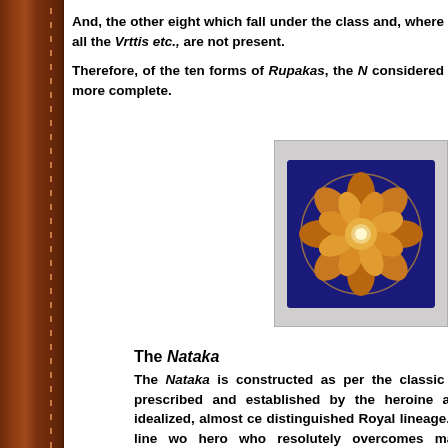And, the other eight which fall under the class and, where all the Vrttis etc., are not present.
Therefore, of the ten forms of Rupakas, the N considered more complete.
[Figure (illustration): A golden lotus flower illustration on a dark blue/navy background, inside a gray-bordered frame. The flower has multiple layered petals in golden/amber color with a circular design.]
The Nataka
The Nataka is constructed as per the classic the rules prescribed and established by the heroine are highly idealized, almost ce distinguished Royal lineage. Its story-line wo hero who resolutely overcomes many chall succeeds in achieving his desired objective. Th the good and the virtuous should never be